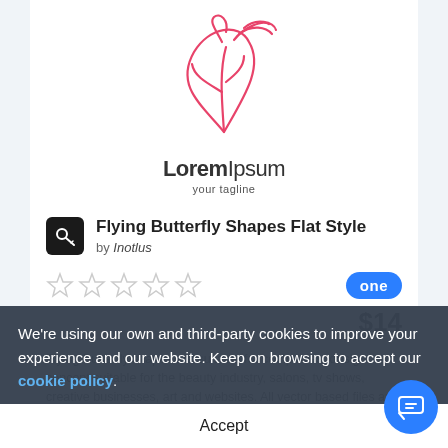[Figure (logo): Butterfly/leaf line art logo in pink/coral with text LoremIpsum and tagline 'your tagline']
Flying Butterfly Shapes Flat Style
by Inotlus
[Figure (other): Five empty star rating icons]
[Figure (other): ONE badge (blue rounded rectangle with 'one' text)]
$14
Flying Butterfly shapes are suitable for companies, design concept suitable for the beauty industry, salons, tv shows, creative businesses, art and websites. All vector based files are built into the Illustrator s...
We're using our own and third-party cookies to improve your experience and our website. Keep on browsing to accept our cookie policy.
Accept